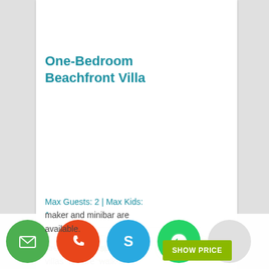One-Bedroom Beachfront Villa
[Figure (infographic): Two rows of amenity icons in green circular borders: row 1 has 4 icons (AC/fan, sun/satellite, coffee maker, bottle/minibar); row 2 has 4 icons (bathtub, phone, TV, wifi)]
Max Guests: 2 | Max Kids: 1
Area of 80m2, spacious villas feature walk-in closets. They offer flat-screen cable TV and ...
maker and minibar are available.
[Figure (infographic): Bottom contact bar with 5 circular buttons: green email icon, orange phone icon, blue Skype icon, green WhatsApp icon, gray empty button]
SHOW PRICE